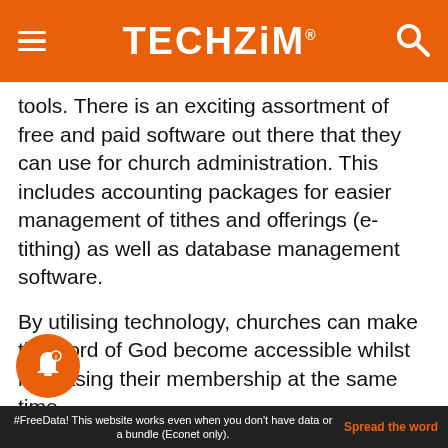TECHZiM
tools. There is an exciting assortment of free and paid software out there that they can use for church administration. This includes accounting packages for easier management of tithes and offerings (e-tithing) as well as database management software.
By utilising technology, churches can make the word of God become accessible whilst increasing their membership at the same time.
Has your church embraced tech? If so please do share the ways in which this has happened and how can this be picked up by others.
#FreeData! This website works even when you don't have data or a bundle (Econet only). Spread the word